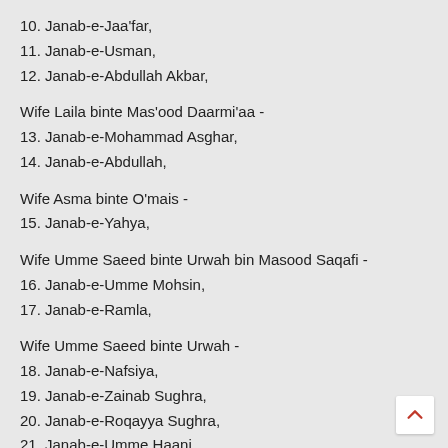10. Janab-e-Jaa'far,
11. Janab-e-Usman,
12. Janab-e-Abdullah Akbar,
Wife Laila binte Mas'ood Daarmi'aa -
13. Janab-e-Mohammad Asghar,
14. Janab-e-Abdullah,
Wife Asma binte O'mais -
15. Janab-e-Yahya,
Wife Umme Saeed binte Urwah bin Masood Saqafi -
16. Janab-e-Umme Mohsin,
17. Janab-e-Ramla,
Wife Umme Saeed binte Urwah -
18. Janab-e-Nafsiya,
19. Janab-e-Zainab Sughra,
20. Janab-e-Roqayya Sughra,
21. Janab-e-Umme Haani,